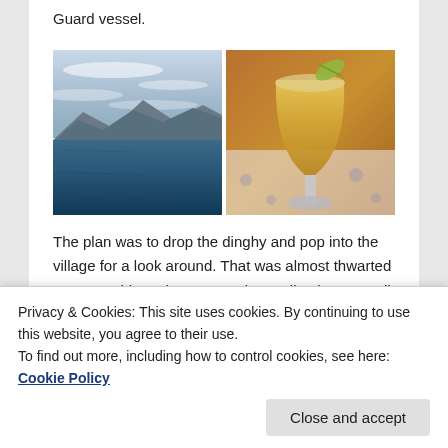Guard vessel.
[Figure (photo): Two side-by-side photos: left shows a calm body of water with mountains in the background under a cloudy sky; right shows a yellow/orange frozen margarita drink in a glass with a lime wedge on the rim, on a decorative tablecloth.]
The plan was to drop the dinghy and pop into the village for a look around. That was almost thwarted as we could get the crane to let out line but not pull it back in. A key
Privacy & Cookies: This site uses cookies. By continuing to use this website, you agree to their use.
To find out more, including how to control cookies, see here: Cookie Policy
Close and accept